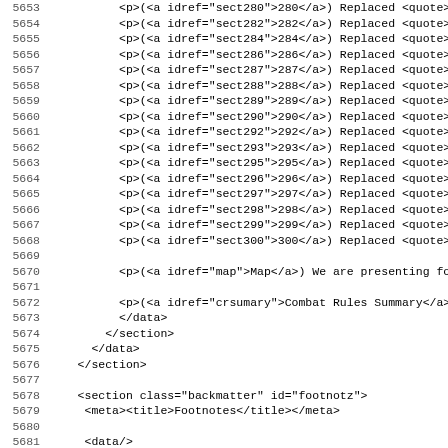Code listing lines 5653-5685 showing XML source code with line numbers
5653    <p>(<a idref="sect280">280</a>) Replaced <quote>
5654    <p>(<a idref="sect282">282</a>) Replaced <quote>
5655    <p>(<a idref="sect284">284</a>) Replaced <quote>
5656    <p>(<a idref="sect286">286</a>) Replaced <quote>
5657    <p>(<a idref="sect287">287</a>) Replaced <quote>
5658    <p>(<a idref="sect288">288</a>) Replaced <quote>
5659    <p>(<a idref="sect289">289</a>) Replaced <quote>
5660    <p>(<a idref="sect290">290</a>) Replaced <quote>
5661    <p>(<a idref="sect292">292</a>) Replaced <quote>
5662    <p>(<a idref="sect293">293</a>) Replaced <quote>
5663    <p>(<a idref="sect295">295</a>) Replaced <quote>
5664    <p>(<a idref="sect296">296</a>) Replaced <quote>
5665    <p>(<a idref="sect297">297</a>) Replaced <quote>
5666    <p>(<a idref="sect298">298</a>) Replaced <quote>
5667    <p>(<a idref="sect299">299</a>) Replaced <quote>
5668    <p>(<a idref="sect300">300</a>) Replaced <quote>
5669
5670    <p>(<a idref="map">Map</a>) We are presenting fo
5671
5672    <p>(<a idref="crsumary">Combat Rules Summary</a>
5673      </data>
5674    </section>
5675    </data>
5676    </section>
5677
5678    <section class="backmatter" id="footnotz">
5679     <meta><title>Footnotes</title></meta>
5680
5681     <data/>
5682
5683    </section>
5684
5685